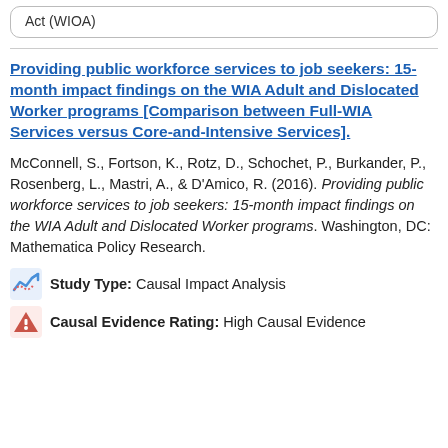Act (WIOA)
Providing public workforce services to job seekers: 15-month impact findings on the WIA Adult and Dislocated Worker programs [Comparison between Full-WIA Services versus Core-and-Intensive Services].
McConnell, S., Fortson, K., Rotz, D., Schochet, P., Burkander, P., Rosenberg, L., Mastri, A., & D'Amico, R. (2016). Providing public workforce services to job seekers: 15-month impact findings on the WIA Adult and Dislocated Worker programs. Washington, DC: Mathematica Policy Research.
Study Type: Causal Impact Analysis
Causal Evidence Rating: High Causal Evidence